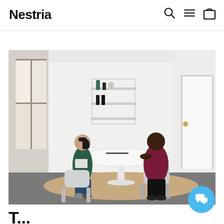Nestria
[Figure (photo): Two people sitting across from each other at a round white table in a bright, minimalist room. A woman in a green turtleneck holds a book and a man in a maroon sweater listens. There are shelves on the wall behind them and a door to the right. A woven rug is on the floor.]
T...